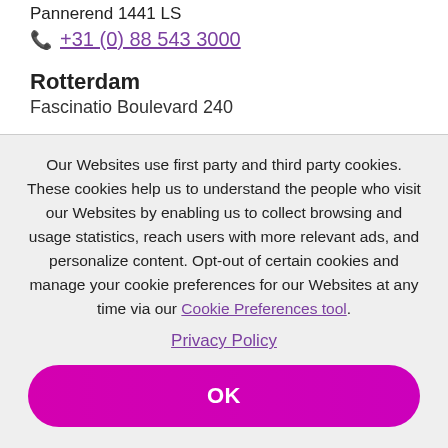Pannerend 1441 LS
+31 (0) 88 543 3000
Rotterdam
Fascinatio Boulevard 240
Our Websites use first party and third party cookies. These cookies help us to understand the people who visit our Websites by enabling us to collect browsing and usage statistics, reach users with more relevant ads, and personalize content. Opt-out of certain cookies and manage your cookie preferences for our Websites at any time via our Cookie Preferences tool.
Privacy Policy
OK